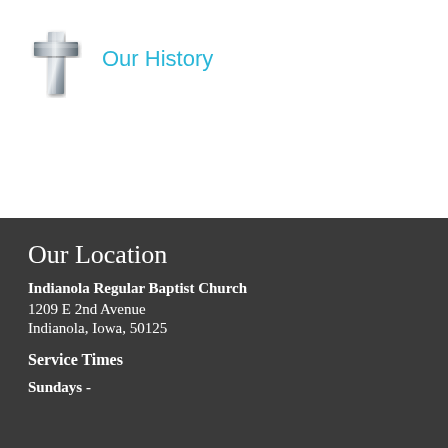[Figure (illustration): A metallic Christian cross icon with a 3D silver/grey gradient appearance]
Our History
Our Location
Indianola Regular Baptist Church
1209 E 2nd Avenue
Indianola, Iowa, 50125
Service Times
Sundays -